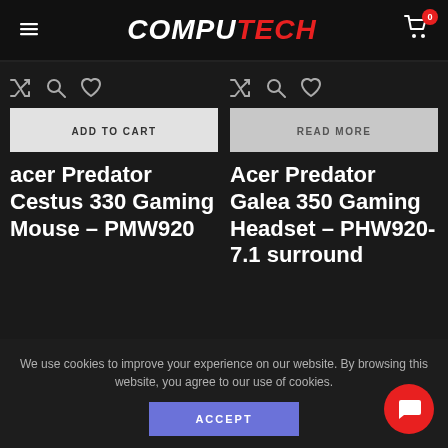COMPUTECH
[Figure (screenshot): Two product cards: 'acer Predator Cestus 330 Gaming Mouse – PMW920' with ADD TO CART button, and 'Acer Predator Galea 350 Gaming Headset – PHW920-7.1 surround' with READ MORE button, on dark background with shuffle, search, and heart icons]
We use cookies to improve your experience on our website. By browsing this website, you agree to our use of cookies.
ACCEPT